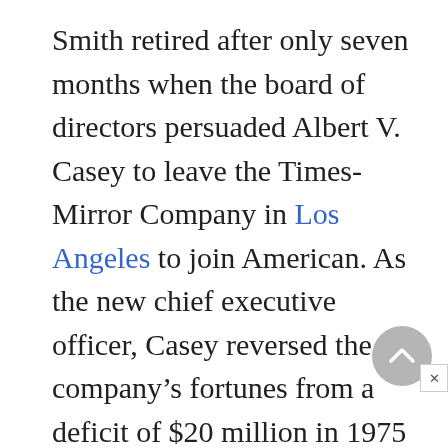Smith retired after only seven months when the board of directors persuaded Albert V. Casey to leave the Times-Mirror Company in Los Angeles to join American. As the new chief executive officer, Casey reversed the company's fortunes from a deficit of $20 million in 1975 to a record profit of $134 million in 1978. To everyone's surprise Casey decided to move the airline's headquarters from New York City to Dallas/Fort Worth. Though some said